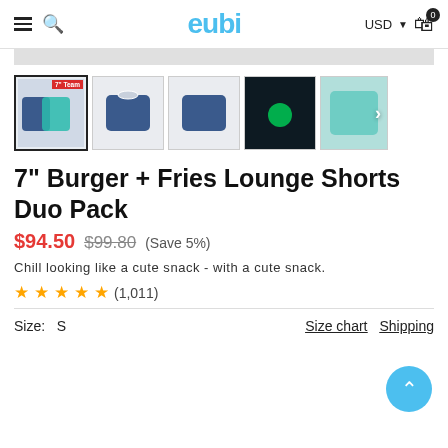eubi — USD 0 (cart)
[Figure (screenshot): Row of 5 product thumbnail images of shorts, with first selected (bold border), badge reading '7" Team' in top-right of first thumb, dark glow-in-dark image for 4th, teal fabric for 5th with right-arrow navigation button]
7" Burger + Fries Lounge Shorts Duo Pack
$94.50  $99.80  (Save 5%)
Chill looking like a cute snack - with a cute snack.
★★★★★ (1,011)
Size:  S
Size chart   Shipping